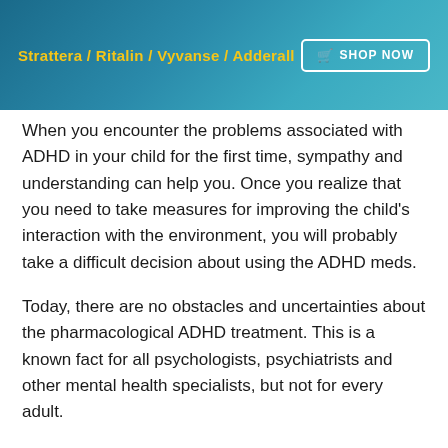[Figure (infographic): Banner advertisement with teal/blue gradient background showing medication names in yellow bold text: Strattera / Ritalin / Vyvanse / Adderall, with a white-bordered SHOP NOW button on the right]
When you encounter the problems associated with ADHD in your child for the first time, sympathy and understanding can help you. Once you realize that you need to take measures for improving the child's interaction with the environment, you will probably take a difficult decision about using the ADHD meds.
Today, there are no obstacles and uncertainties about the pharmacological ADHD treatment. This is a known fact for all psychologists, psychiatrists and other mental health specialists, but not for every adult.
First things about the...